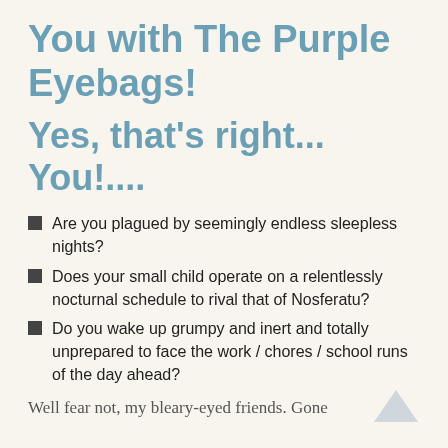You with The Purple Eyebags!
Yes, that's right... You!....
Are you plagued by seemingly endless sleepless nights?
Does your small child operate on a relentlessly nocturnal schedule to rival that of Nosferatu?
Do you wake up grumpy and inert and totally unprepared to face the work / chores / school runs of the day ahead?
Well fear not, my bleary-eyed friends. Gone